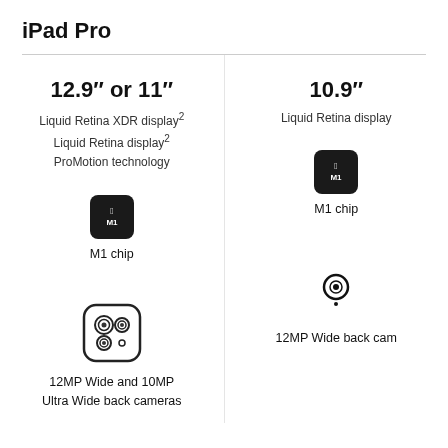iPad Pro
12.9" or 11"
Liquid Retina XDR display²
Liquid Retina display²
ProMotion technology
[Figure (logo): M1 chip badge icon - dark square with Apple logo and M1 text]
M1 chip
[Figure (illustration): Dual camera module illustration with two lenses and flash]
12MP Wide and 10MP Ultra Wide back cameras
10.9"
Liquid Retina display
[Figure (logo): M1 chip badge icon - dark square with Apple logo and M1 text]
M1 chip
[Figure (illustration): Single camera lens illustration]
12MP Wide back cam